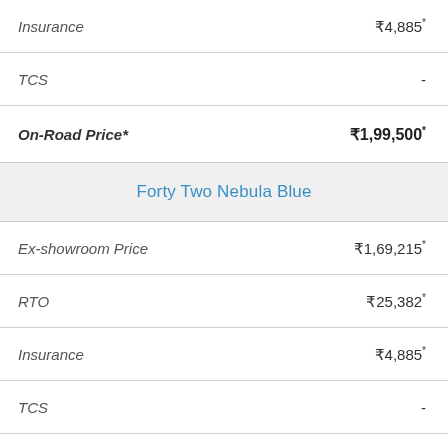| Item | Value |
| --- | --- |
| Insurance | ₹4,885* |
| TCS | - |
| On-Road Price* | ₹1,99,500* |
| Forty Two Nebula Blue |  |
| Ex-showroom Price | ₹1,69,215* |
| RTO | ₹25,382* |
| Insurance | ₹4,885* |
| TCS | - |
| On-Road Price* | ₹1,99,500* |